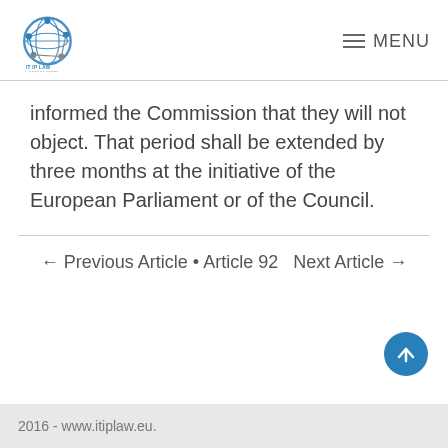IT IP LAW GROUP EUROPE | MENU
informed the Commission that they will not object. That period shall be extended by three months at the initiative of the European Parliament or of the Council.
← Previous Article • Article 92  Next Article →
2016 - www.itiplaw.eu.